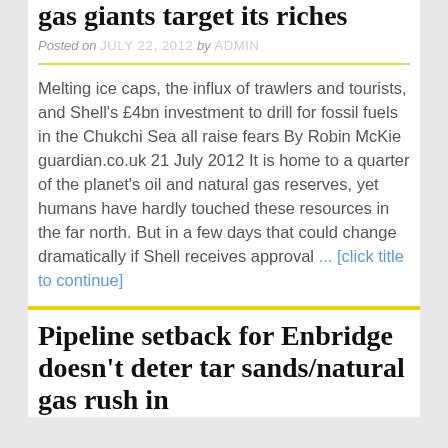gas giants target its riches
Posted on JULY 22, 2012 by ADMIN
Melting ice caps, the influx of trawlers and tourists, and Shell's £4bn investment to drill for fossil fuels in the Chukchi Sea all raise fears By Robin McKie guardian.co.uk 21 July 2012 It is home to a quarter of the planet's oil and natural gas reserves, yet humans have hardly touched these resources in the far north. But in a few days that could change dramatically if Shell receives approval ... [click title to continue]
Posted in Arctic, Energy |
Pipeline setback for Enbridge doesn't deter tar sands/natural gas rush in